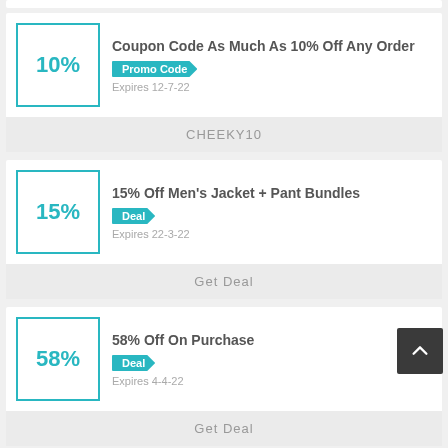10%
Coupon Code As Much As 10% Off Any Order
Promo Code
Expires 12-7-22
CHEEKY10
15%
15% Off Men's Jacket + Pant Bundles
Deal
Expires 22-3-22
Get Deal
58%
58% Off On Purchase
Deal
Expires 4-4-22
Get Deal